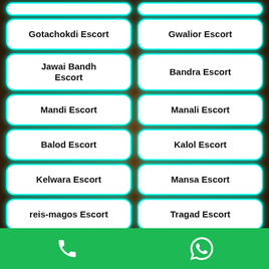Gotachokdi Escort
Gwalior Escort
Jawai Bandh Escort
Bandra Escort
Mandi Escort
Manali Escort
Balod Escort
Kalol Escort
Kelwara Escort
Mansa Escort
reis-magos Escort
Tragad Escort